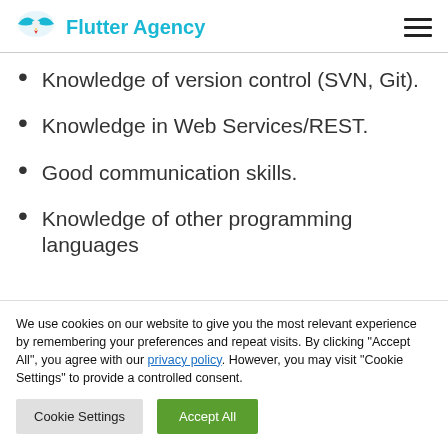Flutter Agency
Knowledge of version control (SVN, Git).
Knowledge in Web Services/REST.
Good communication skills.
Knowledge of other programming languages
We use cookies on our website to give you the most relevant experience by remembering your preferences and repeat visits. By clicking "Accept All", you agree with our privacy policy. However, you may visit "Cookie Settings" to provide a controlled consent.